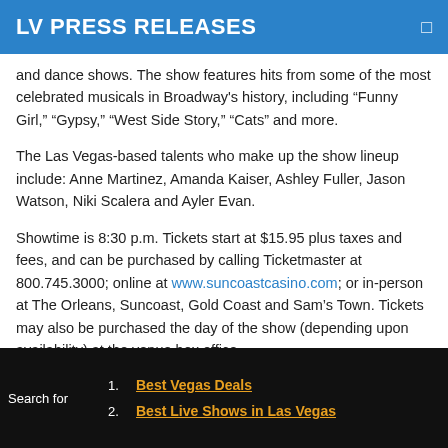LV PRESS RELEASES
and dance shows. The show features hits from some of the most celebrated musicals in Broadway's history, including “Funny Girl,” “Gypsy,” “West Side Story,” “Cats” and more.
The Las Vegas-based talents who make up the show lineup include: Anne Martinez, Amanda Kaiser, Ashley Fuller, Jason Watson, Niki Scalera and Ayler Evan.
Showtime is 8:30 p.m. Tickets start at $15.95 plus taxes and fees, and can be purchased by calling Ticketmaster at 800.745.3000; online at www.suncoastcasino.com; or in-person at The Orleans, Suncoast, Gold Coast and Sam’s Town. Tickets may also be purchased the day of the show (depending upon availability) at the venue box office.
About Suncoast Hotel and Casino
... (cut off)
1. Best Vegas Deals
2. Best Live Shows in Las Vegas